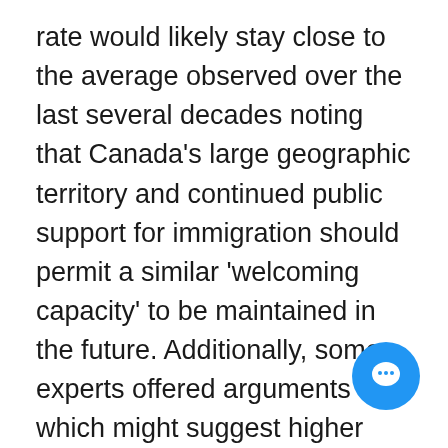rate would likely stay close to the average observed over the last several decades noting that Canada's large geographic territory and continued public support for immigration should permit a similar 'welcoming capacity' to be maintained in the future. Additionally, some experts offered arguments which might suggest higher immigration levels in the future. Among these were the powerful sway of pro-immigration lobbyists, the discourse around population aging and labour shortages, which views immigration as a solution these challenges, possible environmental